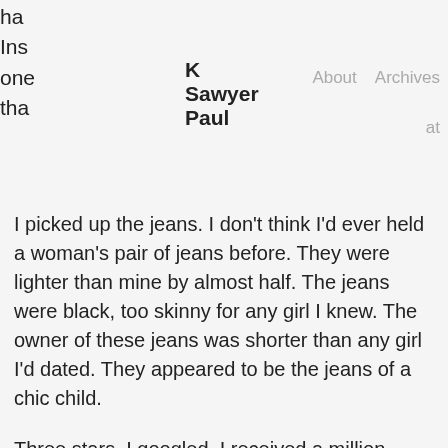K Sawyer Paul | About | Archives
I picked up the jeans. I don't think I'd ever held a woman's pair of jeans before. They were lighter than mine by almost half. The jeans were black, too skinny for any girl I knew. The owner of these jeans was shorter than any girl I'd dated. They appeared to be the jeans of a chic child.
Three stars. I googled. I received a million possibilities. Three stars could have meant anything.
I wasn't the least bit hungover. I returned from the washroom with a glass of water, eyes focused on the pants and the note. They were in a pile on my bed. I'd felt the need to fold both, to keep them together. They key